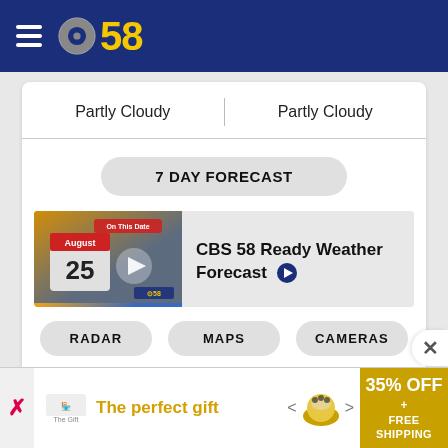CBS 58
Partly Cloudy | Partly Cloudy
7 DAY FORECAST
[Figure (screenshot): Video thumbnail showing CBS 58 meteorologist and a calendar showing August 25, with text 'On This Date']
CBS 58 Ready Weather Forecast
RADAR
MAPS
CAMERAS
[Figure (other): Advertisement banner: The perfect gift, 35% OFF + FREE SHIPPING]